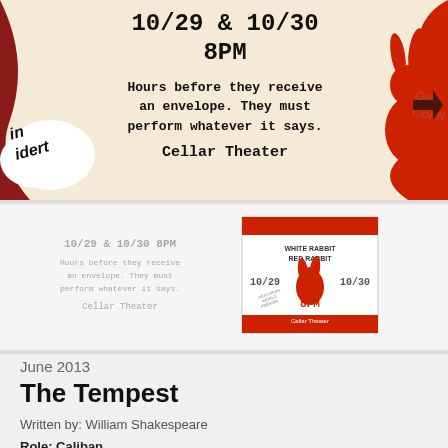[Figure (illustration): Theater poster with cream background, red rabbit illustration on right, dark red curved shape on left, text reading '10/29 & 10/30 8PM', 'Hours before they receive an envelope. They must perform whatever it says.', 'Cellar Theater'. Partial italic text 'in' and 'idert' visible on left side. Partial red text 'Geo' and 'Conti' visible on right side.]
[Figure (illustration): Small thumbnail preview of the same poster showing '10/29 & 10/30 8PM', 'Hours before they receive an envelope. They must perform whatever it says.', 'Cellar Theater' in light gray, alongside a small poster image showing a red rabbit, 'WHITE RABBIT RED RABBIT', '10/29' and '10/30', '8PM', 'Cellar Theater' text.]
June 2013
The Tempest
Written by: William Shakespeare
Role: Caliban